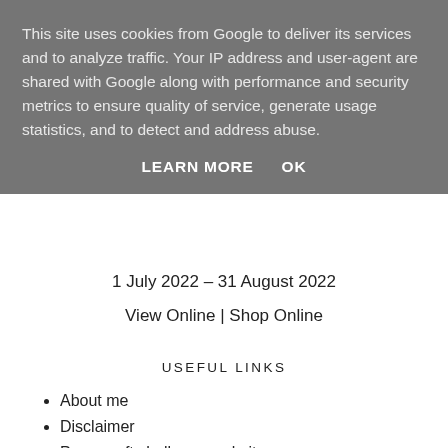This site uses cookies from Google to deliver its services and to analyze traffic. Your IP address and user-agent are shared with Google along with performance and security metrics to ensure quality of service, generate usage statistics, and to detect and address abuse.
LEARN MORE    OK
1 July 2022 – 31 August 2022
View Online | Shop Online
USEFUL LINKS
About me
Disclaimer
Papercraft challenge websites
My papercraft challenge badges
Buy the store kit...